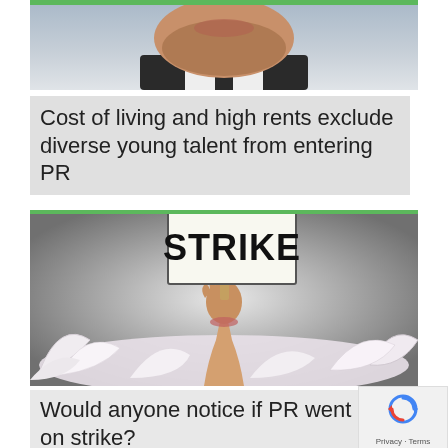[Figure (photo): Close-up photo of lower face of a bearded man in a suit, chin and mouth visible]
Cost of living and high rents exclude diverse young talent from entering PR
[Figure (photo): A hand emerging from a pile of crumpled white paper, holding up a sign that reads STRIKE in bold black letters]
Would anyone notice if PR went on strike?
[Figure (other): reCAPTCHA badge with Google logo and Privacy - Terms text]